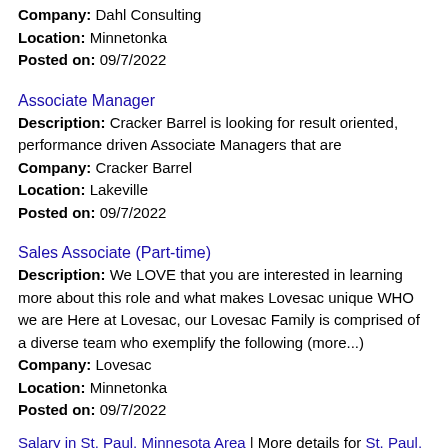Company: Dahl Consulting
Location: Minnetonka
Posted on: 09/7/2022
Associate Manager
Description: Cracker Barrel is looking for result oriented, performance driven Associate Managers that are
Company: Cracker Barrel
Location: Lakeville
Posted on: 09/7/2022
Sales Associate (Part-time)
Description: We LOVE that you are interested in learning more about this role and what makes Lovesac unique WHO we are Here at Lovesac, our Lovesac Family is comprised of a diverse team who exemplify the following (more...)
Company: Lovesac
Location: Minnetonka
Posted on: 09/7/2022
Salary in St. Paul, Minnesota Area | More details for St. Paul, Minnesota Jobs |Salary
Demand Planner